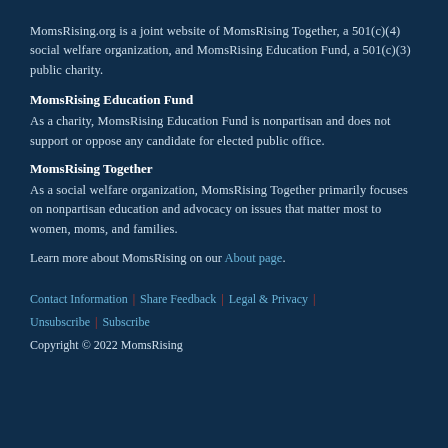MomsRising.org is a joint website of MomsRising Together, a 501(c)(4) social welfare organization, and MomsRising Education Fund, a 501(c)(3) public charity.
MomsRising Education Fund
As a charity, MomsRising Education Fund is nonpartisan and does not support or oppose any candidate for elected public office.
MomsRising Together
As a social welfare organization, MomsRising Together primarily focuses on nonpartisan education and advocacy on issues that matter most to women, moms, and families.
Learn more about MomsRising on our About page.
Contact Information | Share Feedback | Legal & Privacy | Unsubscribe | Subscribe
Copyright © 2022 MomsRising